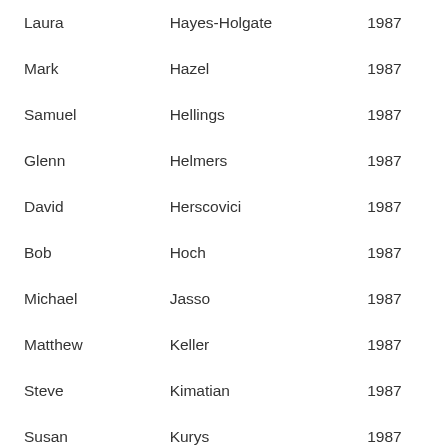| Laura | Hayes-Holgate | 1987 |
| Mark | Hazel | 1987 |
| Samuel | Hellings | 1987 |
| Glenn | Helmers | 1987 |
| David | Herscovici | 1987 |
| Bob | Hoch | 1987 |
| Michael | Jasso | 1987 |
| Matthew | Keller | 1987 |
| Steve | Kimatian | 1987 |
| Susan | Kurys | 1987 |
| Bill | Ladd | 1987 |